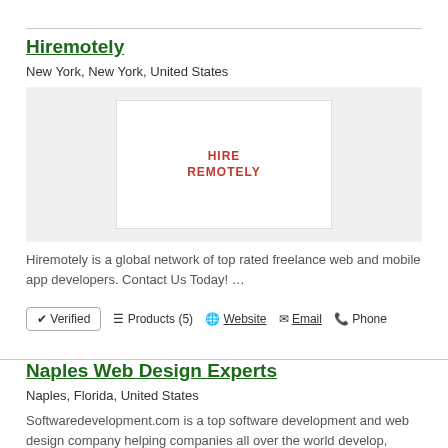Hiremotely
New York, New York, United States
[Figure (logo): Hiremotely logo — white box with red bold text reading HIRE REMOTELY on two lines, on a light grey background]
Hiremotely is a global network of top rated freelance web and mobile app developers. Contact Us Today! …
✔ Verified   ☰ Products (5)   🌐 Website   ✉ Email   📞 Phone
Naples Web Design Experts
Naples, Florida, United States
Softwaredevelopment.com is a top software development and web design company helping companies all over the world develop, design and market their business online. We help create your visions and drive your success!…